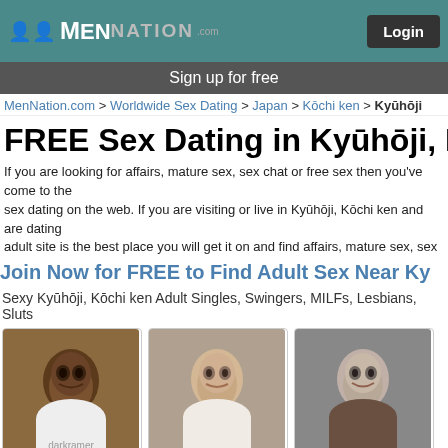MenNation - Login
Sign up for free
MenNation.com > Worldwide Sex Dating > Japan > Kōchi ken > Kyūhōji
FREE Sex Dating in Kyūhōji, Kō
If you are looking for affairs, mature sex, sex chat or free sex then you've come to the sex dating on the web. If you are visiting or live in Kyūhōji, Kōchi ken and are dating adult site is the best place you will get it on and find affairs, mature sex, sex chat, fre swingers looking for free swinger hookup sex. As you're probably excited to find a fli Kyūhōji, Kōchi ken page help you hook up for hot sex quickly with sexy swingers, sin
Join Now for FREE to Find Adult Sex Near Ky
Sexy Kyūhōji, Kōchi ken Adult Singles, Swingers, MILFs, Lesbians, Sluts
[Figure (photo): Profile photo of darkramer, 28/M, Kyūhōji, Kōchi-ken]
[Figure (photo): Profile photo of amrmusl, 19/M, Tokyo]
[Figure (photo): Profile photo of tarmus59, 29/M, Tokyo]